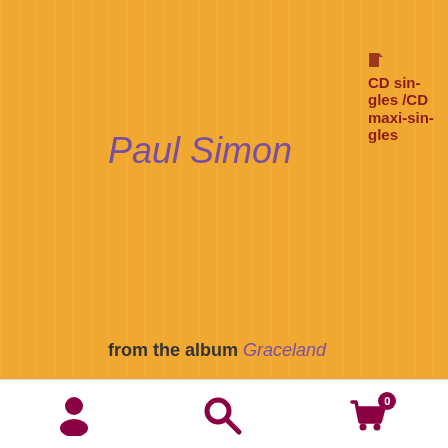Paul Simon
from the album Graceland
B-side   "I Know What I Know"
Released   April 1987
Format   7"-vinyl 45rpm
CD singles/CD maxi-singles
Blu-ray Disc
DVD's Film
[Figure (infographic): Footer navigation bar with user/person icon, search icon, and shopping cart icon with badge showing 0]